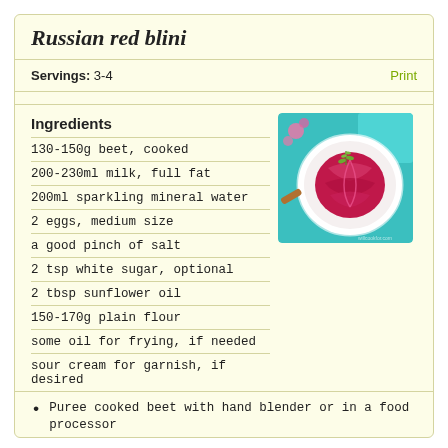Russian red blini
Servings: 3-4
Ingredients
130-150g beet, cooked
200-230ml milk, full fat
200ml sparkling mineral water
2 eggs, medium size
a good pinch of salt
2 tsp white sugar, optional
2 tbsp sunflower oil
150-170g plain flour
some oil for frying, if needed
sour cream for garnish, if desired
[Figure (photo): Folded red/pink blini (crepes) stacked in a white bowl, garnished with a sprig of rosemary, on a teal background with pink flowers]
Puree cooked beet with hand blender or in a food processor until smooth. Add milk, water and stir.